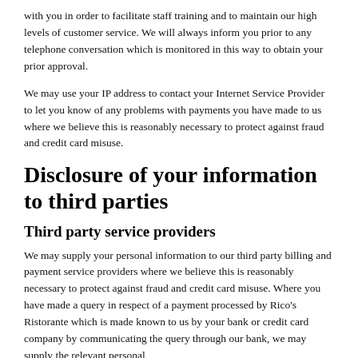with you in order to facilitate staff training and to maintain our high levels of customer service. We will always inform you prior to any telephone conversation which is monitored in this way to obtain your prior approval.
We may use your IP address to contact your Internet Service Provider to let you know of any problems with payments you have made to us where we believe this is reasonably necessary to protect against fraud and credit card misuse.
Disclosure of your information to third parties
Third party service providers
We may supply your personal information to our third party billing and payment service providers where we believe this is reasonably necessary to protect against fraud and credit card misuse. Where you have made a query in respect of a payment processed by Rico's Ristorante which is made known to us by your bank or credit card company by communicating the query through our bank, we may supply the relevant personal